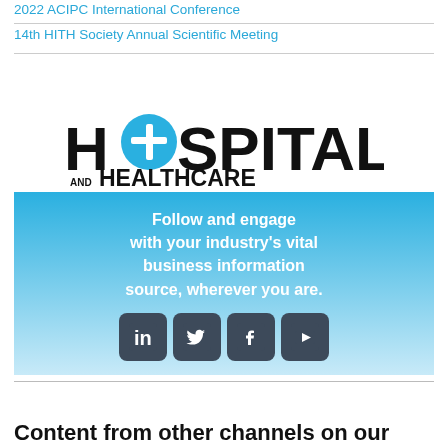2022 ACIPC International Conference
14th HITH Society Annual Scientific Meeting
[Figure (logo): Hospital and Healthcare logo with blue cross symbol and social media follow banner]
Content from other channels on our